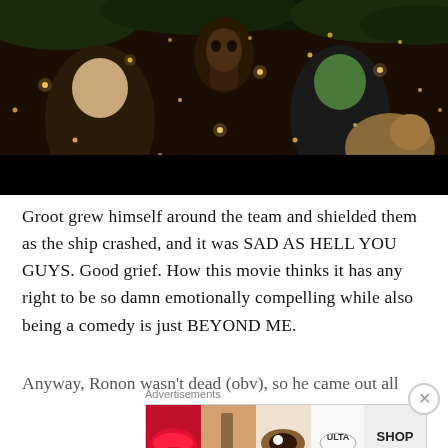[Figure (photo): A still from Guardians of the Galaxy showing characters including Groot in a dark forest scene with glowing lights/fireflies]
Groot grew himself around the team and shielded them as the ship crashed, and it was SAD AS HELL YOU GUYS. Good grief. How this movie thinks it has any right to be so damn emotionally compelling while also being a comedy is just BEYOND ME.
Anyway, Ronon wasn't dead (obv), so he came out all
Advertisements
[Figure (photo): ULTA Beauty advertisement banner showing makeup and cosmetics imagery with 'SHOP NOW' text]